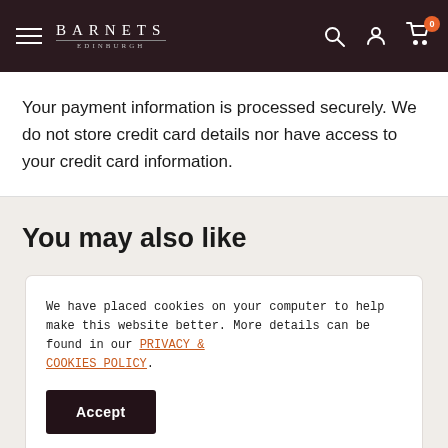BARNETS EDINBURGH — navigation header with hamburger menu, search, account, and cart icons
Your payment information is processed securely. We do not store credit card details nor have access to your credit card information.
You may also like
We have placed cookies on your computer to help make this website better. More details can be found in our PRIVACY & COOKIES POLICY.
Accept